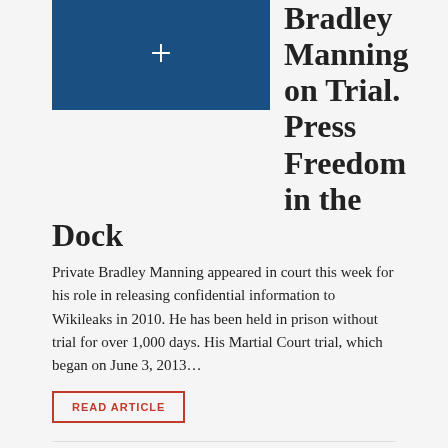[Figure (other): Blue box with a white plus sign]
Bradley Manning on Trial. Press Freedom in the Dock
Private Bradley Manning appeared in court this week for his role in releasing confidential information to Wikileaks in 2010. He has been held in prison without trial for over 1,000 days. His Martial Court trial, which began on June 3, 2013…
READ ARTICLE
JANUARY 9, 2011 • DIGITAL NEWS, ETHICS AND QUALITY • BY NATASCHA FIORETTI
From Wikileaks to Apple Pie
Lessons to learn from 2010. In the end, Julian Assange was not named Man of the Year by TIME magazine. Yet there's no doubt 2010 will be remembered for the Wikileaks controversy and the